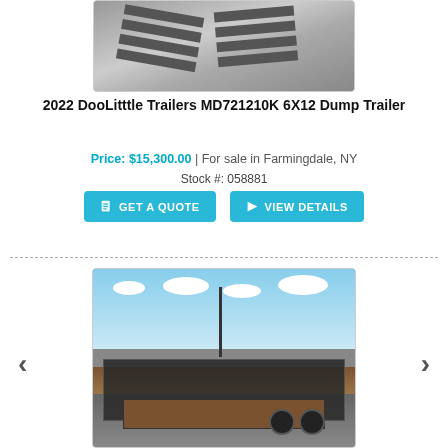[Figure (photo): Aerial/overhead view of a dump trailer with ramps visible, photographed from above on a concrete surface.]
2022 DooLitttle Trailers MD721210K 6X12 Dump Trailer
Price: $15,300.00 | For sale in Farmingdale, NY
Stock #: 058881
GET A QUOTE
VIEW DETAILS
[Figure (photo): Photo of a utility/flatbed trailer with wooden deck floor and metal frame, photographed in a parking lot with blue sky and clouds in background. Navigation arrows on left and right sides.]